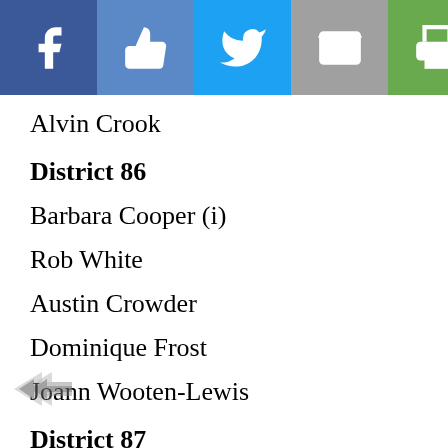[Figure (infographic): Social media share bar with icons: Facebook (blue), Like/thumbs-up (steel blue), Twitter (light blue), Email (gray), Print (green), Crown/subscription (dark blue)]
Alvin Crook
District 86
Barbara Cooper (i)
Rob White
Austin Crowder
Dominique Frost
Joann Wooten-Lewis
District 87
Karen Camper (i)
District 88
Larry Miller (i)
Orrden Williams, Jr.
District 89